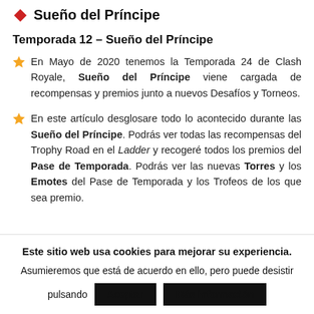Sueño del Príncipe
Temporada 12 – Sueño del Príncipe
En Mayo de 2020 tenemos la Temporada 24 de Clash Royale, Sueño del Príncipe viene cargada de recompensas y premios junto a nuevos Desafíos y Torneos.
En este artículo desglosare todo lo acontecido durante las Sueño del Príncipe. Podrás ver todas las recompensas del Trophy Road en el Ladder y recogeré todos los premios del Pase de Temporada. Podrás ver las nuevas Torres y los Emotes del Pase de Temporada y los Trofeos de los que sea premio.
Este sitio web usa cookies para mejorar su experiencia. Asumieremos que está de acuerdo en ello, pero puede desistir pulsando
Aceptar
Más información